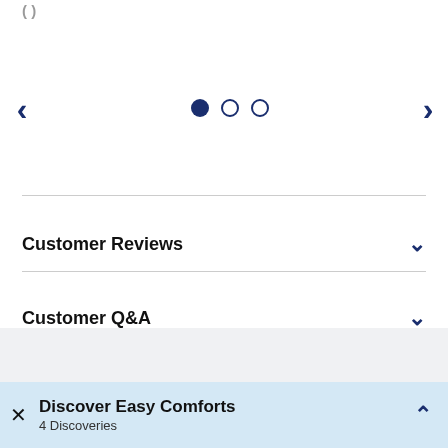[Figure (screenshot): Carousel navigation with left and right arrow chevrons and three pagination dots (first filled, two empty)]
Customer Reviews
Customer Q&A
Discover Easy Comforts
4 Discoveries